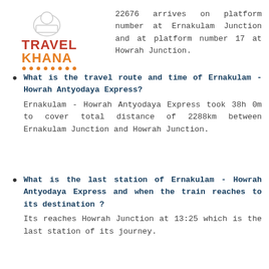[Figure (logo): Travel Khana logo with chef hat icon, TRAVEL in red/orange bold text and KHANA in orange bold text with decorative underline dots]
22676 arrives on platform number at Ernakulam Junction and at platform number 17 at Howrah Junction.
What is the travel route and time of Ernakulam - Howrah Antyodaya Express? Ernakulam - Howrah Antyodaya Express took 38h 0m to cover total distance of 2288km between Ernakulam Junction and Howrah Junction.
What is the last station of Ernakulam - Howrah Antyodaya Express and when the train reaches to its destination ? Its reaches Howrah Junction at 13:25 which is the last station of its journey.